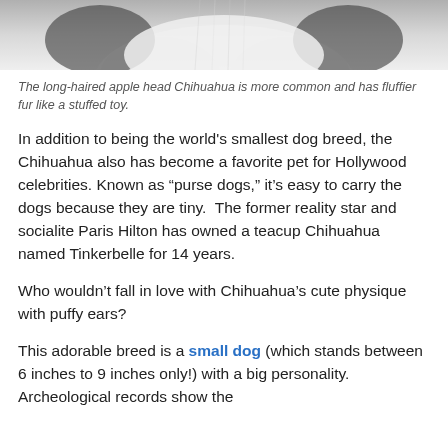[Figure (photo): Top portion of a Chihuahua dog with long fluffy white and black fur, cropped to show only the top of the head and fur.]
The long-haired apple head Chihuahua is more common and has fluffier fur like a stuffed toy.
In addition to being the world's smallest dog breed, the Chihuahua also has become a favorite pet for Hollywood celebrities. Known as “purse dogs,” it’s easy to carry the dogs because they are tiny.  The former reality star and socialite Paris Hilton has owned a teacup Chihuahua named Tinkerbelle for 14 years.
Who wouldn’t fall in love with Chihuahua’s cute physique with puffy ears?
This adorable breed is a small dog (which stands between 6 inches to 9 inches only!) with a big personality. Archeological records show the